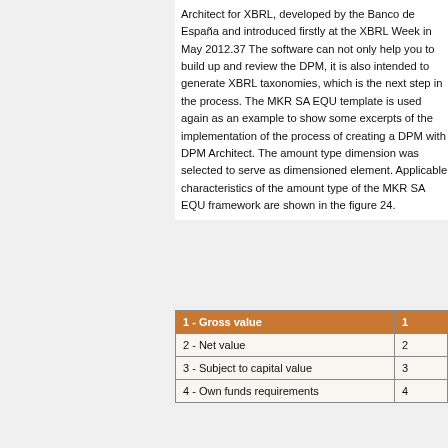Architect for XBRL, developed by the Banco de España and introduced firstly at the XBRL Week in May 2012.37 The software can not only help you to build up and review the DPM, it is also intended to generate XBRL taxonomies, which is the next step in the process. The MKR SA EQU template is used again as an example to show some excerpts of the implementation of the process of creating a DPM with DPM Architect. The amount type dimension was selected to serve as dimensioned element. Applicable characteristics of the amount type of the MKR SA EQU framework are shown in the figure 24.
|  |  |
| --- | --- |
| 1 - Gross value | 1 |
| 2 - Net value | 2 |
| 3 - Subject to capital value | 3 |
| 4 - Own funds requirements | 4 |